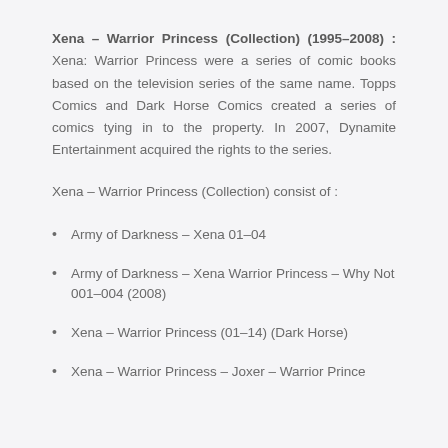Xena – Warrior Princess (Collection) (1995–2008) : Xena: Warrior Princess were a series of comic books based on the television series of the same name. Topps Comics and Dark Horse Comics created a series of comics tying in to the property. In 2007, Dynamite Entertainment acquired the rights to the series.
Xena – Warrior Princess (Collection) consist of :
Army of Darkness – Xena 01–04
Army of Darkness – Xena Warrior Princess – Why Not 001–004 (2008)
Xena – Warrior Princess (01–14) (Dark Horse)
Xena – Warrior Princess – Joxer – Warrior Prince